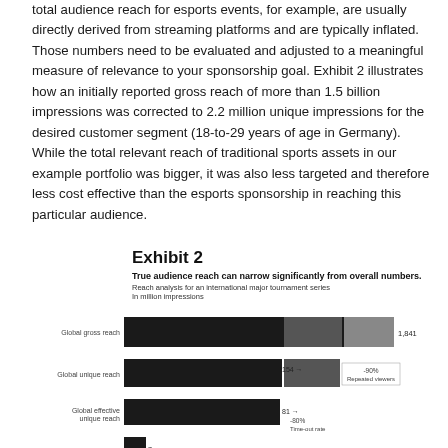total audience reach for esports events, for example, are usually directly derived from streaming platforms and are typically inflated. Those numbers need to be evaluated and adjusted to a meaningful measure of relevance to your sponsorship goal. Exhibit 2 illustrates how an initially reported gross reach of more than 1.5 billion impressions was corrected to 2.2 million unique impressions for the desired customer segment (18-to-29 years of age in Germany). While the total relevant reach of traditional sports assets in our example portfolio was bigger, it was also less targeted and therefore less cost effective than the esports sponsorship in reaching this particular audience.
Exhibit 2
True audience reach can narrow significantly from overall numbers.
[Figure (bar-chart): Reach analysis for an international major tournament series
In million impressions]